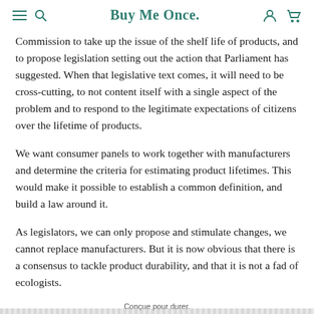Buy Me Once.
Commission to take up the issue of the shelf life of products, and to propose legislation setting out the action that Parliament has suggested. When that legislative text comes, it will need to be cross-cutting, to not content itself with a single aspect of the problem and to respond to the legitimate expectations of citizens over the lifetime of products.
We want consumer panels to work together with manufacturers and determine the criteria for estimating product lifetimes. This would make it possible to establish a common definition, and build a law around it.
As legislators, we can only propose and stimulate changes, we cannot replace manufacturers. But it is now obvious that there is a consensus to tackle product durability, and that it is not a fad of ecologists.
Conçue pour durer.